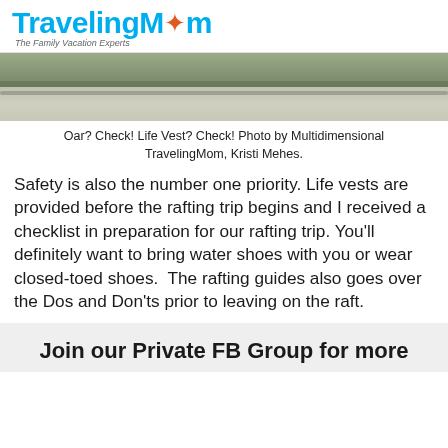TravelingMom — The Family Vacation Experts
[Figure (photo): Outdoor photo showing ground/grass and concrete sidewalk, cropped view]
Oar? Check! Life Vest? Check! Photo by Multidimensional TravelingMom, Kristi Mehes.
Safety is also the number one priority. Life vests are provided before the rafting trip begins and I received a checklist in preparation for our rafting trip. You'll definitely want to bring water shoes with you or wear closed-toed shoes.  The rafting guides also goes over the Dos and Don'ts prior to leaving on the raft.
Join our Private FB Group for more